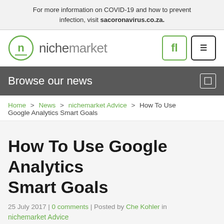For more information on COVID-19 and how to prevent infection, visit sacoronavirus.co.za.
[Figure (logo): nichemarket logo - green circle with lowercase n, next to the text 'nichemarket' in grey, plus two icon boxes (fl in green border, hamburger menu in black border)]
Browse our news
Home > News > nichemarket Advice > How To Use Google Analytics Smart Goals
How To Use Google Analytics Smart Goals
25 July 2017 | 0 comments | Posted by Che Kohler in
nichemarket Advice